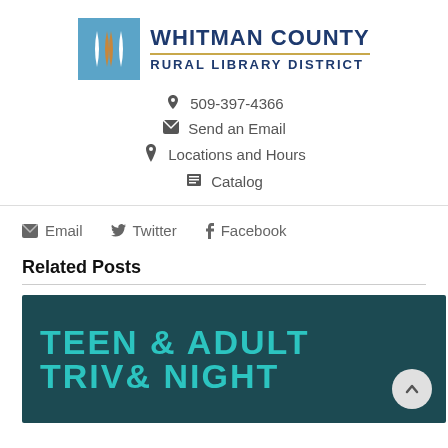[Figure (logo): Whitman County Rural Library District logo with blue square icon and text]
509-397-4366
Send an Email
Locations and Hours
Catalog
Email   Twitter   Facebook
Related Posts
[Figure (illustration): Dark teal banner with large teal text reading TEEN & ADULT on two lines, partially visible]